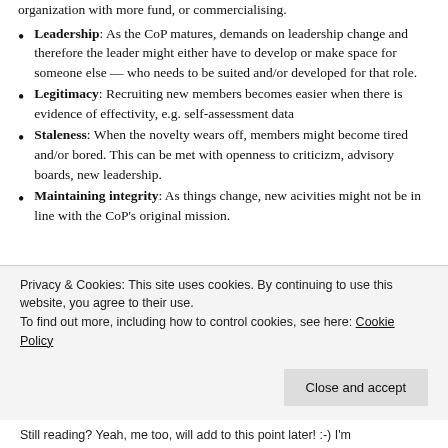organization with more fund, or commercialising.
Leadership: As the CoP matures, demands on leadership change and therefore the leader might either have to develop or make space for someone else — who needs to be suited and/or developed for that role.
Legitimacy: Recruiting new members becomes easier when there is evidence of effectivity, e.g. self-assessment data
Staleness: When the novelty wears off, members might become tired and/or bored. This can be met with openness to criticizm, advisory boards, new leadership.
Maintaining integrity: As things change, new acivities might not be in line with the CoP's original mission.
Privacy & Cookies: This site uses cookies. By continuing to use this website, you agree to their use. To find out more, including how to control cookies, see here: Cookie Policy
Still reading? Yeah, me too, will add to this point later! :-) I'm